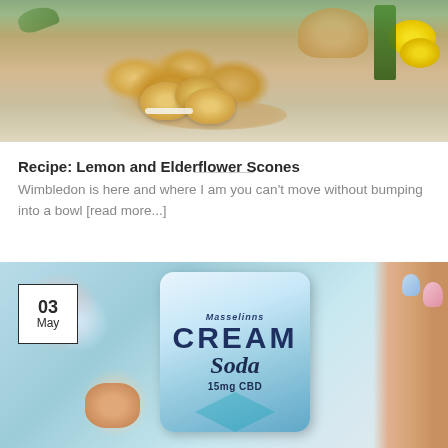[Figure (photo): Photo of lemon and elderflower scones on a wooden board, with lemons, white flowers, and a green bottle in the background]
Recipe: Lemon and Elderflower Scones
Wimbledon is here and where I am you can't move without bumping into a bowl [read more...]
[Figure (photo): Close-up photo of a hand holding a Cream Soda 15mg CBD flavored can with colorful pastel design, date badge 03 May overlaid on top-left]